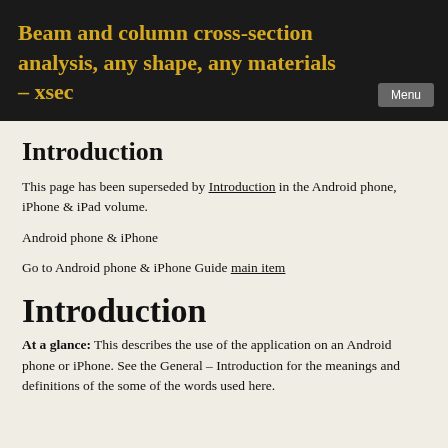Beam and column cross-section analysis, any shape, any materials – xsec
Introduction
This page has been superseded by Introduction in the Android phone, iPhone & iPad volume.
Android phone & iPhone
Go to Android phone & iPhone Guide main item
Introduction
At a glance: This describes the use of the application on an Android phone or iPhone. See the General – Introduction for the meanings and definitions of the some of the words used here.